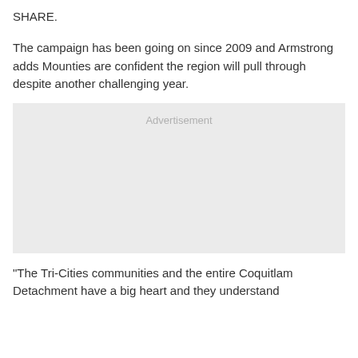SHARE.
The campaign has been going on since 2009 and Armstrong adds Mounties are confident the region will pull through despite another challenging year.
[Figure (other): Advertisement placeholder box with light grey background and 'Advertisement' label text in grey.]
"The Tri-Cities communities and the entire Coquitlam Detachment have a big heart and they understand